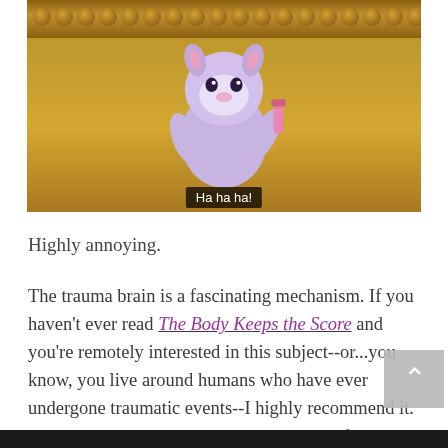[Figure (screenshot): Screenshot from an animated video game or visual novel showing a purple/lavender colored cartoon character (possibly a cat or similar creature) holding a pink test tube, set against a golden ornate background with decorative molding and round studs. A subtitle bar at the bottom reads 'Ha ha ha!']
Highly annoying.
The trauma brain is a fascinating mechanism. If you haven't ever read The Body Keeps the Score and you're remotely interested in this subject--or...you know, you live around humans who have ever undergone traumatic events--I highly recommend it. Not only does it explain the mechanisms of the trauma brain, but it also goes into a